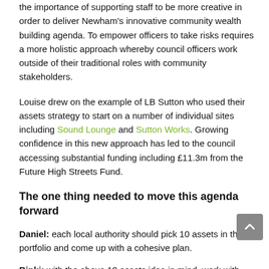the importance of supporting staff to be more creative in order to deliver Newham's innovative community wealth building agenda. To empower officers to take risks requires a more holistic approach whereby council officers work outside of their traditional roles with community stakeholders.
Louise drew on the example of LB Sutton who used their assets strategy to start on a number of individual sites including Sound Lounge and Sutton Works. Growing confidence in this new approach has led to the council accessing substantial funding including £11.3m from the Future High Streets Fund.
The one thing needed to move this agenda forward
Daniel: each local authority should pick 10 assets in their portfolio and come up with a cohesive plan.
Binki: with the above 10 assets idea in mind, work with